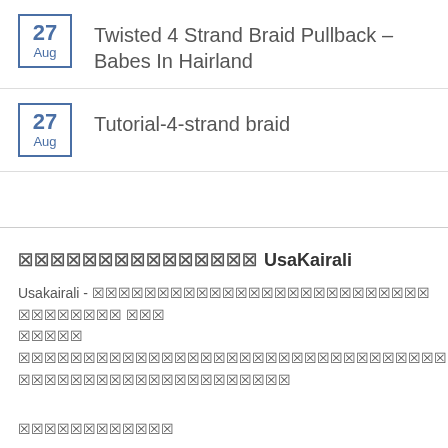27 Aug – Twisted 4 Strand Braid Pullback – Babes In Hairland
27 Aug – Tutorial-4-strand braid
โปรโมชั่น UsaKairali
Usakairali - โปรโมชั่นสินค้า ชาวมาลายาลี และ ชุมชน ชาวมาลายาลี ในสหรัฐอเมริกา ข่าวภาษามาลายาลัม
ข่าวภาษามาลายาลัม